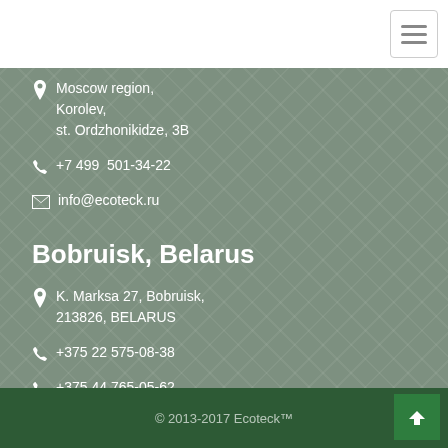Moscow region, Korolev, st. Ordzhonikidze, 3B
+7 499 501-34-22
info@ecoteck.ru
Bobruisk, Belarus
K. Marksa 27, Bobruisk, 213826, BELARUS
+375 22 575-08-38
+375 44 765-05-62
info@ecoteck.by
© 2013-2017 Ecoteck™